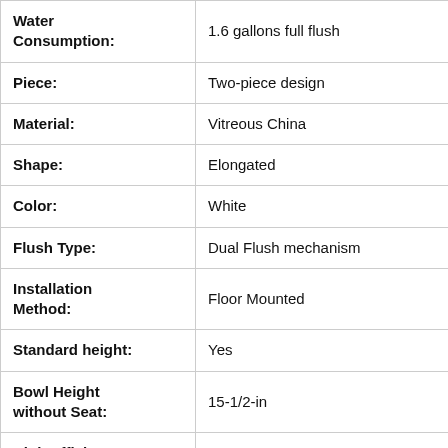| Attribute | Value |
| --- | --- |
| Water Consumption: | 1.6 gallons full flush |
| Piece: | Two-piece design |
| Material: | Vitreous China |
| Shape: | Elongated |
| Color: | White |
| Flush Type: | Dual Flush mechanism |
| Installation Method: | Floor Mounted |
| Standard height: | Yes |
| Bowl Height without Seat: | 15-1/2-in |
| High Efficiency: | Yes |
| Skirted: | Yes |
| Dimensions: | 27.5 x 14.2 x 31.2 inches |